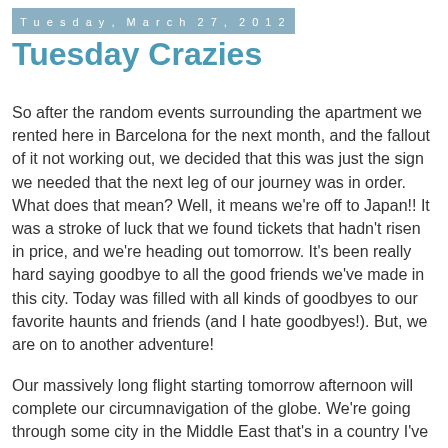Tuesday, March 27, 2012
Tuesday Crazies
So after the random events surrounding the apartment we rented here in Barcelona for the next month, and the fallout of it not working out, we decided that this was just the sign we needed that the next leg of our journey was in order. What does that mean? Well, it means we're off to Japan!! It was a stroke of luck that we found tickets that hadn't risen in price, and we're heading out tomorrow. It's been really hard saying goodbye to all the good friends we've made in this city. Today was filled with all kinds of goodbyes to our favorite haunts and friends (and I hate goodbyes!). But, we are on to another adventure!
Our massively long flight starting tomorrow afternoon will complete our circumnavigation of the globe. We're going through some city in the Middle East that's in a country I've never heard of before. That will be interesting :) Then, we'll land here: